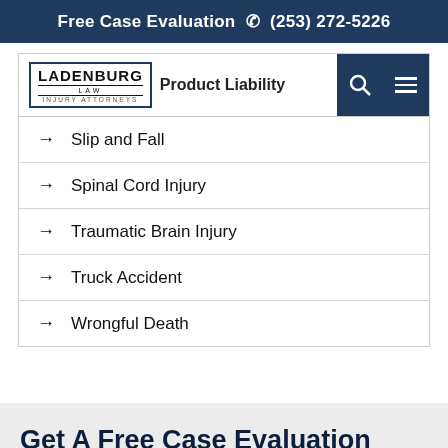Free Case Evaluation ☎ (253) 272-5226
[Figure (screenshot): Ladenburg Law Injury Attorneys logo with Product Liability navigation header and search/menu icons]
→ Slip and Fall
→ Spinal Cord Injury
→ Traumatic Brain Injury
→ Truck Accident
→ Wrongful Death
Get A Free Case Evaluation